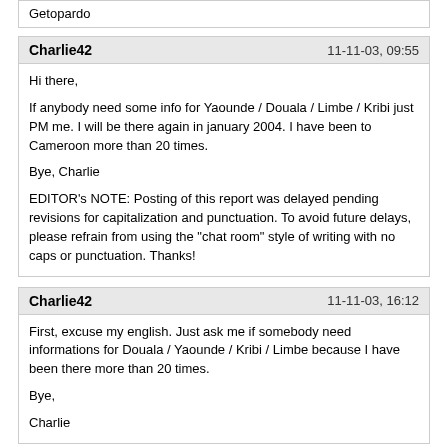Getopardo
Charlie42	11-11-03, 09:55
Hi there,

If anybody need some info for Yaounde / Douala / Limbe / Kribi just PM me. I will be there again in january 2004. I have been to Cameroon more than 20 times.

Bye, Charlie

EDITOR's NOTE: Posting of this report was delayed pending revisions for capitalization and punctuation. To avoid future delays, please refrain from using the "chat room" style of writing with no caps or punctuation. Thanks!
Charlie42	11-11-03, 16:12
First, excuse my english. Just ask me if somebody need informations for Douala / Yaounde / Kribi / Limbe because I have been there more than 20 times.

Bye,

Charlie
Chris P	11-12-03, 00:40
Hey Charlie42,

Thanks for the pic, it was great. I'm a chocoholic and I was originally thinking of Nigeria, but I understand Nigeria is is quite dangerous and its people are dodgy, and so Cameroon seems better. Also Beavis recommended Douala and he seems to know the scene well. I'd love to know more about Douala in